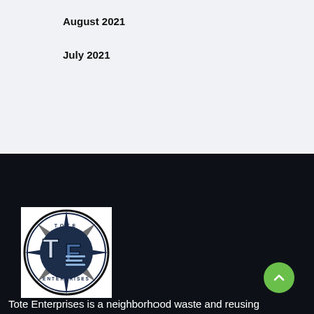August 2021
July 2021
[Figure (logo): Tote Enterprises circular compass logo with T and E letters in center, dark blue and black color scheme]
Tote Enterprises is a neighborhood waste and reusing